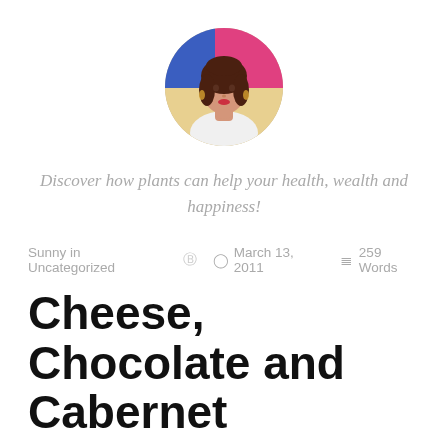[Figure (photo): Circular avatar photo of a woman with dark hair, wearing white top and earrings, hand on chin, colorful background]
Discover how plants can help your health, wealth and happiness!
Sunny in Uncategorized  ⊙  March 13, 2011  ≡  259 Words
Cheese, Chocolate and Cabernet
What are these things doing on a fitness blog, you say? Well, these are the items I've been